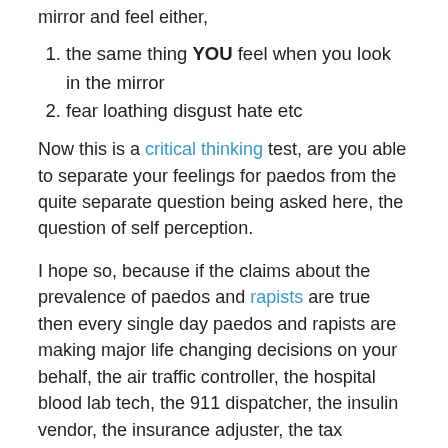mirror and feel either,
the same thing YOU feel when you look in the mirror
fear loathing disgust hate etc
Now this is a critical thinking test, are you able to separate your feelings for paedos from the quite separate question being asked here, the question of self perception.
I hope so, because if the claims about the prevalence of paedos and rapists are true then every single day paedos and rapists are making major life changing decisions on your behalf, the air traffic controller, the hospital blood lab tech, the 911 dispatcher, the insulin vendor, the insurance adjuster, the tax collector…
If you are capable of this piece of critical thinking, you'll see that the answer to the question above is #1